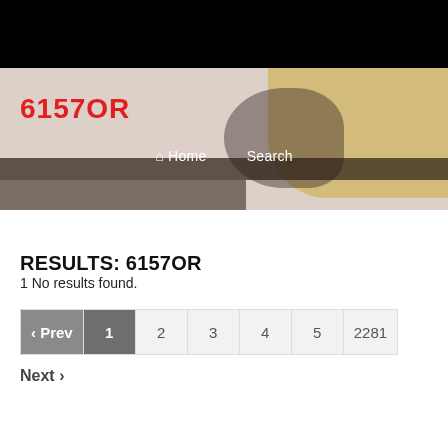[Figure (photo): Hero banner image showing people working at a table, partially obscured. Dark top bar. Red site logo '6157OR' overlaid. Navigation links 'Home' and 'Search' overlaid in white.]
RESULTS: 6157OR
1 No results found.
‹ Prev  1  2  3  4  5  2281
Next ›